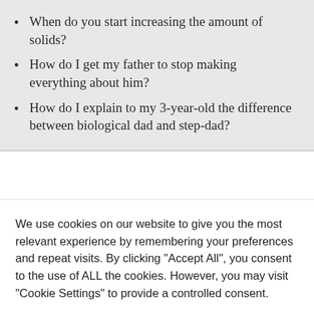When do you start increasing the amount of solids?
How do I get my father to stop making everything about him?
How do I explain to my 3-year-old the difference between biological dad and step-dad?
We use cookies on our website to give you the most relevant experience by remembering your preferences and repeat visits. By clicking "Accept All", you consent to the use of ALL the cookies. However, you may visit "Cookie Settings" to provide a controlled consent.